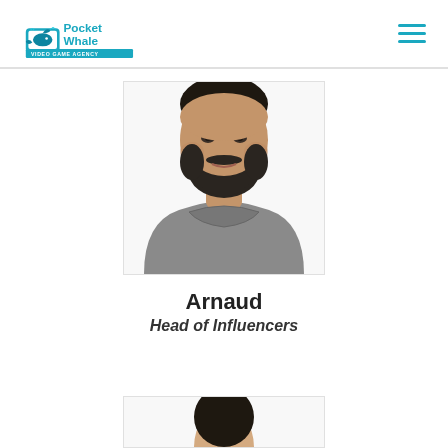Pocket Whale Video Game Agency
[Figure (photo): Portrait photo of Arnaud, a bearded man wearing a grey t-shirt, cropped at chest level, white background]
Arnaud
Head of Influencers
[Figure (photo): Partial portrait photo of another person, cropped, only top of head visible]